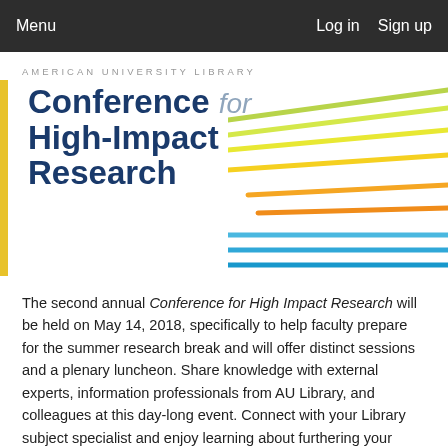Menu   Log in   Sign up
AMERICAN UNIVERSITY LIBRARY
Conference for High-Impact Research
[Figure (illustration): Decorative diagonal colored lines (green, yellow, orange, blue) fanning out from left to right on the right side of the title area]
The second annual Conference for High Impact Research will be held on May 14, 2018, specifically to help faculty prepare for the summer research break and will offer distinct sessions and a plenary luncheon. Share knowledge with external experts, information professionals from AU Library, and colleagues at this day-long event. Connect with your Library subject specialist and enjoy learning about furthering your impact with your peers. Sign up to attend the conference and create your custom schedule